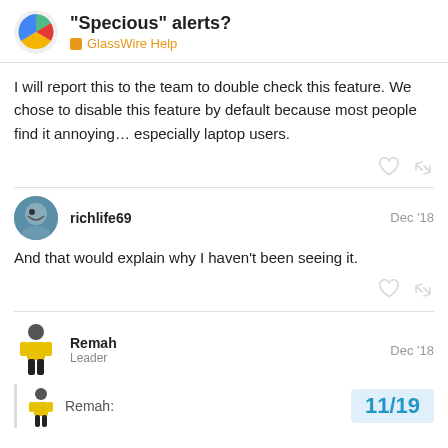“Specious” alerts? | GlassWire Help
I will report this to the team to double check this feature. We chose to disable this feature by default because most people find it annoying… especially laptop users.
richlife69 — Dec ’18
And that would explain why I haven’t been seeing it.
Remah — Leader — Dec ’18
Remah:
11 / 19